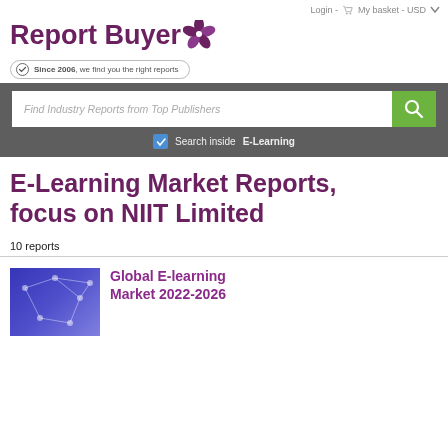Login - My basket - USD
[Figure (logo): Report Buyer logo with snowflake-like icon and tagline 'Since 2006, we find you the right reports']
[Figure (screenshot): Search bar with placeholder 'Find Industry Reports from Top Publishers' and green search button, with 'Search inside E-Learning' checkbox below]
E-Learning Market Reports, focus on NIIT Limited
10 reports
[Figure (photo): Blue thumbnail image with network graph pattern]
Global E-learning Market 2022-2026